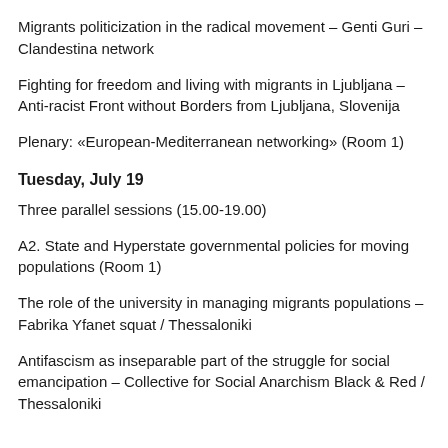Migrants politicization in the radical movement – Genti Guri – Clandestina network
Fighting for freedom and living with migrants in Ljubljana – Anti-racist Front without Borders from Ljubljana, Slovenija
Plenary: «European-Mediterranean networking» (Room 1)
Tuesday, July 19
Three parallel sessions (15.00-19.00)
A2. State and Hyperstate governmental policies for moving populations (Room 1)
The role of the university in managing migrants populations – Fabrika Yfanet squat / Thessaloniki
Antifascism as inseparable part of the struggle for social emancipation – Collective for Social Anarchism Black & Red / Thessaloniki